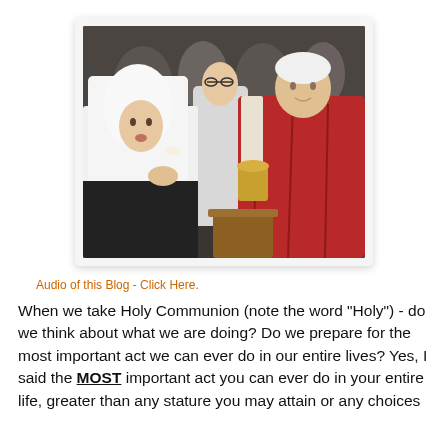[Figure (photo): A nun in white habit receiving Holy Communion from a priest in red vestments, with another clergy member in white vestments in the background, in what appears to be a church setting.]
Audio of this Blog - Click Here.
When we take Holy Communion (note the word "Holy") - do we think about what we are doing? Do we prepare for the most important act we can ever do in our entire lives? Yes, I said the MOST important act you can ever do in your entire life, greater than any stature you may attain or any choices